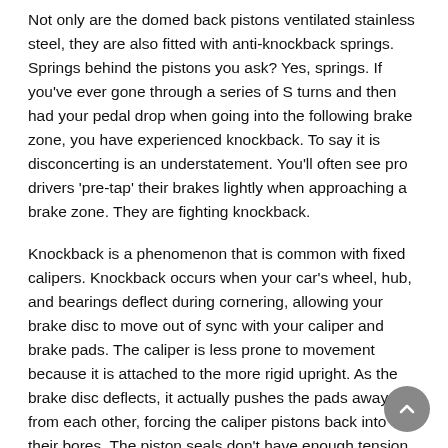Not only are the domed back pistons ventilated stainless steel, they are also fitted with anti-knockback springs. Springs behind the pistons you ask? Yes, springs. If you've ever gone through a series of S turns and then had your pedal drop when going into the following brake zone, you have experienced knockback. To say it is disconcerting is an understatement. You'll often see pro drivers 'pre-tap' their brakes lightly when approaching a brake zone. They are fighting knockback.
Knockback is a phenomenon that is common with fixed calipers. Knockback occurs when your car's wheel, hub, and bearings deflect during cornering, allowing your brake disc to move out of sync with your caliper and brake pads. The caliper is less prone to movement because it is attached to the more rigid upright. As the brake disc deflects, it actually pushes the pads away from each other, forcing the caliper pistons back into their bores. The piston seals don't have enough tension in them to return the pistons to their original location. That means there is slack in the system that needs to be taken up. When you press the brake pedal, it will continue to drop until that slack is taken